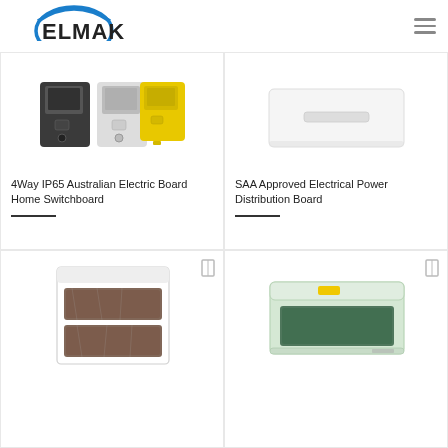ELMAK
[Figure (photo): 4Way IP65 Australian Electric switchboard enclosures in black, white, and yellow colors]
4Way IP65 Australian Electric Board Home Switchboard
[Figure (photo): SAA Approved Electrical Power Distribution Board - white rectangular panel]
SAA Approved Electrical Power Distribution Board
[Figure (photo): Electrical distribution board in plastic packaging with brown components visible]
[Figure (photo): Green and white electrical distribution enclosure with transparent tinted door]